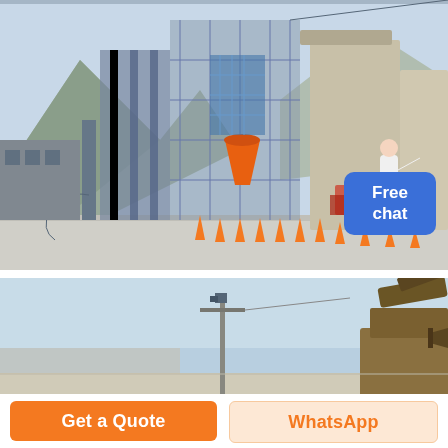[Figure (photo): Industrial facility with large silos, steel framework structures, conveyor systems, and an orange hopper/mixer unit. Mountains visible in background. A person in a white outfit stands near the silos. Orange traffic cones line the foreground road.]
Free chat
[Figure (photo): Outdoor industrial site under blue sky. A tall utility pole with camera/sensor equipment stands in the left-center area. On the right, partial view of heavy construction machinery (excavator/crane arm).]
Get a Quote
WhatsApp